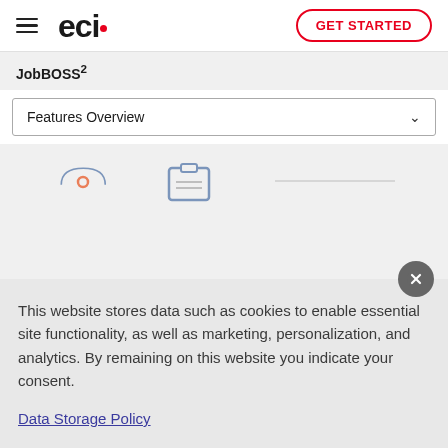eci GET STARTED
JobBOSS²
Features Overview
[Figure (screenshot): Partially visible icons: a semicircle/person icon and a clipboard icon on a light gray background]
This website stores data such as cookies to enable essential site functionality, as well as marketing, personalization, and analytics. By remaining on this website you indicate your consent.
Data Storage Policy
ST A DEMO